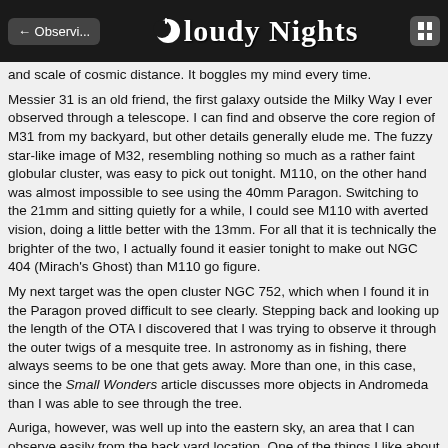← Observi...   Cloudy Nights   [grid]
and scale of cosmic distance. It boggles my mind every time.
Messier 31 is an old friend, the first galaxy outside the Milky Way I ever observed through a telescope. I can find and observe the core region of M31 from my backyard, but other details generally elude me. The fuzzy star-like image of M32, resembling nothing so much as a rather faint globular cluster, was easy to pick out tonight. M110, on the other hand was almost impossible to see using the 40mm Paragon. Switching to the 21mm and sitting quietly for a while, I could see M110 with averted vision, doing a little better with the 13mm. For all that it is technically the brighter of the two, I actually found it easier tonight to make out NGC 404 (Mirach's Ghost) than M110 go figure.
My next target was the open cluster NGC 752, which when I found it in the Paragon proved difficult to see clearly. Stepping back and looking up the length of the OTA I discovered that I was trying to observe it through the outer twigs of a mesquite tree. In astronomy as in fishing, there always seems to be one that gets away. More than one, in this case, since the Small Wonders article discusses more objects in Andromeda than I was able to see through the tree.
Auriga, however, was well up into the eastern sky, an area that I can observe easily from the back yard location. One of the things I like about the Small Wonders series is the way the author makes a point of discussing distinctive stars in a constellation Capella (alpha Aurigae) in this case. Capella isn't a visual double, has no 'ghosts,' and isn't part of a cluster. In the 21mm it was just a star, but a very bright and beautiful star, blazing like a speck of molten silver, with that breath catching purity of color only stars possess.
The first Small Wonders DSO I decided to go after in Auriga would have been a new one for me, but for some reason I could not convince myself that there was a star cluster where the charts say NGC 1857 should be. Nothing really stood out to my eye in the field of the 21mm. I tried to out-stubborn the situation, but in every observing session the clock, quite literally, is ticking. Instead of spending precious time doggedly pursuing an object I just was not finding (or seeing), I